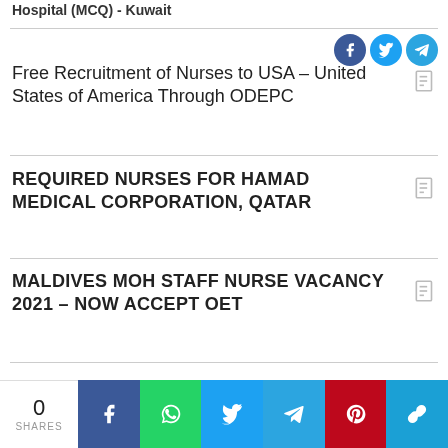Hospital (MCQ) - Kuwait
Free Recruitment of Nurses to USA – United States of America Through ODEPC
REQUIRED NURSES FOR HAMAD MEDICAL CORPORATION, QATAR
MALDIVES MOH STAFF NURSE VACANCY 2021 – NOW ACCEPT OET
HOME   SITEMAP   TERMS & CONDITIONS   DISCLAIMER   SIGNUP
0 SHARES  Facebook  WhatsApp  Twitter  Telegram  Pinterest  Copy Link